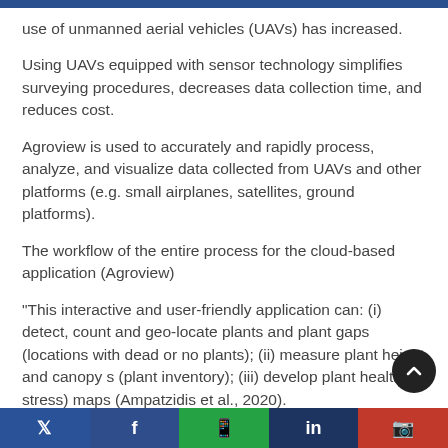use of unmanned aerial vehicles (UAVs) has increased.
Using UAVs equipped with sensor technology simplifies surveying procedures, decreases data collection time, and reduces cost.
Agroview is used to accurately and rapidly process, analyze, and visualize data collected from UAVs and other platforms (e.g. small airplanes, satellites, ground platforms).
The workflow of the entire process for the cloud-based application (Agroview)
“This interactive and user-friendly application can: (i) detect, count and geo-locate plants and plant gaps (locations with dead or no plants); (ii) measure plant height and canopy s (plant inventory); (iii) develop plant health (or stress) maps (Ampatzidis et al., 2020).
Social media share bar